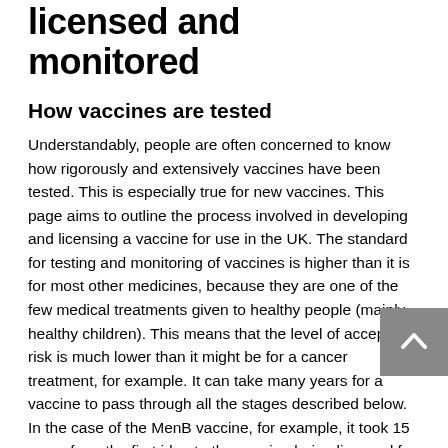licensed and monitored
How vaccines are tested
Understandably, people are often concerned to know how rigorously and extensively vaccines have been tested. This is especially true for new vaccines. This page aims to outline the process involved in developing and licensing a vaccine for use in the UK. The standard for testing and monitoring of vaccines is higher than it is for most other medicines, because they are one of the few medical treatments given to healthy people (mainly healthy children). This means that the level of acceptable risk is much lower than it might be for a cancer treatment, for example. It can take many years for a vaccine to pass through all the stages described below. In the case of the MenB vaccine, for example, it took 15 years from the first idea to the vaccine being licensed for use.
These are some of the stages a vaccine will have gone through before use: